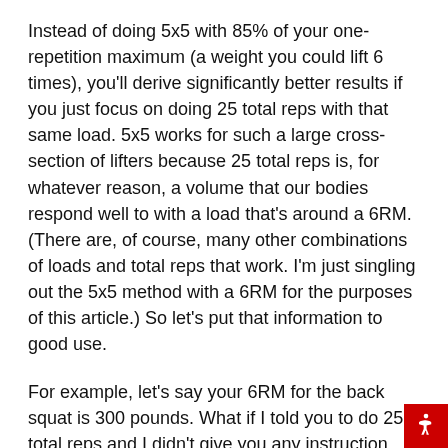Instead of doing 5x5 with 85% of your one-repetition maximum (a weight you could lift 6 times), you'll derive significantly better results if you just focus on doing 25 total reps with that same load. 5x5 works for such a large cross-section of lifters because 25 total reps is, for whatever reason, a volume that our bodies respond well to with a load that's around a 6RM. (There are, of course, many other combinations of loads and total reps that work. I'm just singling out the 5x5 method with a 6RM for the purposes of this article.) So let's put that information to good use.
For example, let's say your 6RM for the back squat is 300 pounds. What if I told you to do 25 total reps and I didn't give you any instruction with regard to how many sets or reps you should do? What would you do?
A masochist might load the 300-pound barbell on his